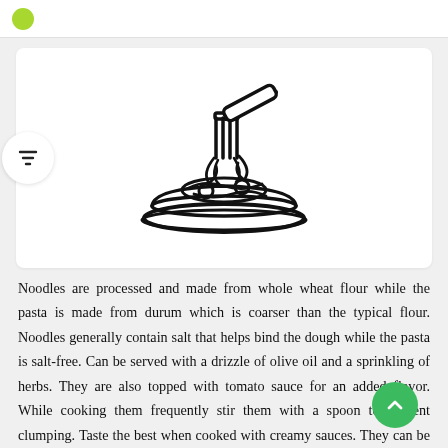[Figure (illustration): Line icon of a pasta/noodle dish: a fork twirled with noodles on a plate, drawn in black outline style]
Noodles are processed and made from whole wheat flour while the pasta is made from durum which is coarser than the typical flour. Noodles generally contain salt that helps bind the dough while the pasta is salt-free. Can be served with a drizzle of olive oil and a sprinkling of herbs. They are also topped with tomato sauce for an added flavor. While cooking them frequently stir them with a spoon to prevent clumping. Taste the best when cooked with creamy sauces. They can be fried or boiled. Are one of the essential ingredients for stir-fries, noodle soups, ramen, & many more delicacies.